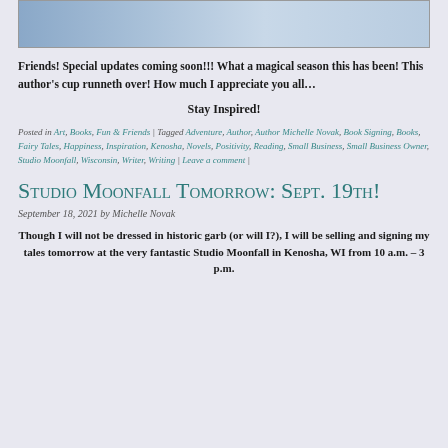[Figure (photo): Partial photo strip at top of page showing a person holding a book, blue/denim tones]
Friends! Special updates coming soon!!! What a magical season this has been! This author's cup runneth over! How much I appreciate you all…
Stay Inspired!
Posted in Art, Books, Fun & Friends | Tagged Adventure, Author, Author Michelle Novak, Book Signing, Books, Fairy Tales, Happiness, Inspiration, Kenosha, Novels, Positivity, Reading, Small Business, Small Business Owner, Studio Moonfall, Wisconsin, Writer, Writing | Leave a comment |
Studio Moonfall Tomorrow: Sept. 19th!
September 18, 2021 by Michelle Novak
Though I will not be dressed in historic garb (or will I?), I will be selling and signing my tales tomorrow at the very fantastic Studio Moonfall in Kenosha, WI from 10 a.m. – 3 p.m.